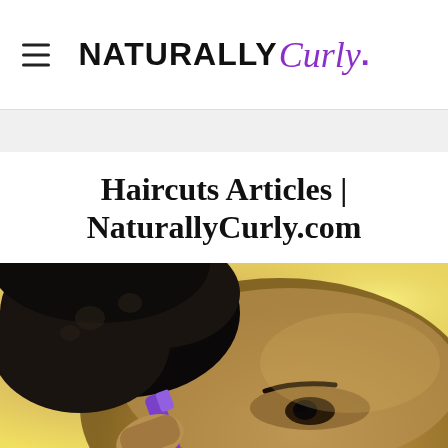NATURALLY Curly (logo)
Haircuts Articles | NaturallyCurly.com
[Figure (photo): Close-up photo of a person with a short natural afro haircut, holding a purple hair clipper/tool near their head, with a warm golden and pink blurred background]